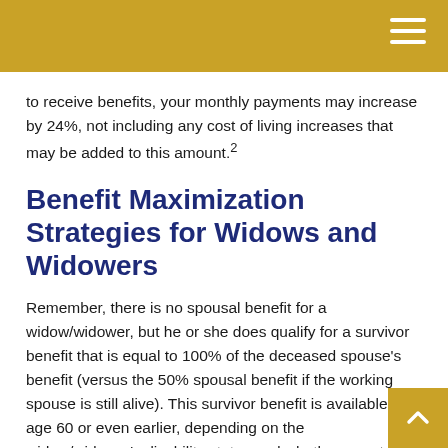to receive benefits, your monthly payments may increase by 24%, not including any cost of living increases that may be added to this amount.²
Benefit Maximization Strategies for Widows and Widowers
Remember, there is no spousal benefit for a widow/widower, but he or she does qualify for a survivor benefit that is equal to 100% of the deceased spouse's benefit (versus the 50% spousal benefit if the working spouse is still alive). This survivor benefit is available at age 60 or even earlier, depending on the widow/widower's disability status and whether or not they are caring for a child.³